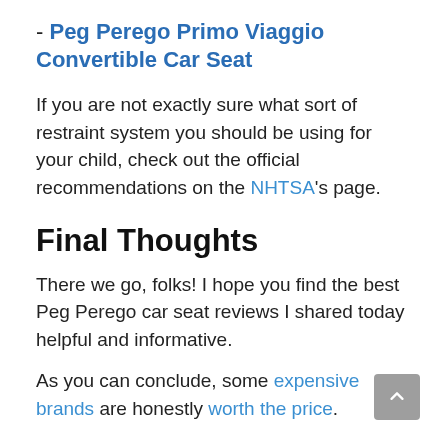- Peg Perego Primo Viaggio Convertible Car Seat
If you are not exactly sure what sort of restraint system you should be using for your child, check out the official recommendations on the NHTSA's page.
Final Thoughts
There we go, folks! I hope you find the best Peg Perego car seat reviews I shared today helpful and informative.
As you can conclude, some expensive brands are honestly worth the price.